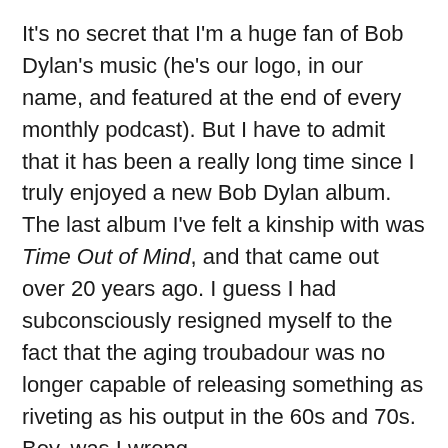It's no secret that I'm a huge fan of Bob Dylan's music (he's our logo, in our name, and featured at the end of every monthly podcast). But I have to admit that it has been a really long time since I truly enjoyed a new Bob Dylan album. The last album I've felt a kinship with was Time Out of Mind, and that came out over 20 years ago. I guess I had subconsciously resigned myself to the fact that the aging troubadour was no longer capable of releasing something as riveting as his output in the 60s and 70s. Boy, was I wrong.
Dylan's Rough and Rowdy Ways is not only the best album he's released in the past 20 years, but it might be his most personal, blunt, and honest effort since, dare I say, Blood on the Tracks? Throughout the album, Bob sings/speaks in a low, crackling voice, the somber backing